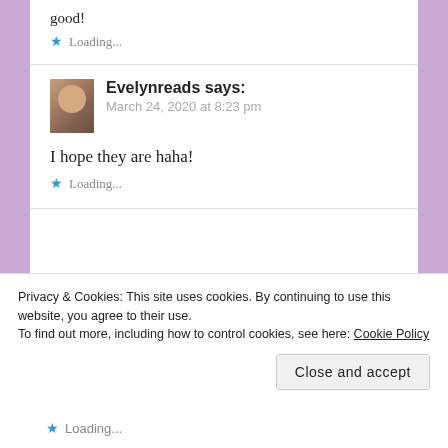good!
★ Loading...
Evelynreads says:
March 24, 2020 at 8:23 pm
I hope they are haha!
★ Loading...
Privacy & Cookies: This site uses cookies. By continuing to use this website, you agree to their use.
To find out more, including how to control cookies, see here: Cookie Policy
Close and accept
★ Loading...